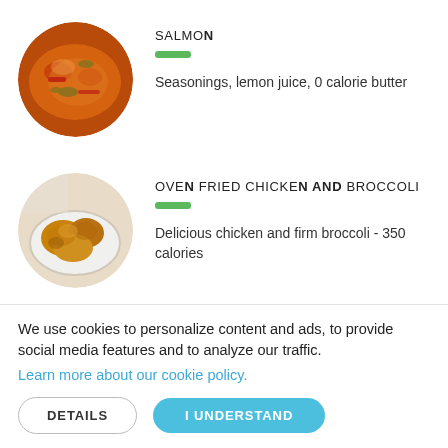[Figure (photo): Circular image of cooked salmon with herbs and red peppers]
SALMON
Seasonings, lemon juice, 0 calorie butter
[Figure (photo): Circular image of oven fried chicken pieces in a bowl]
OVEN FRIED CHICKEN AND BROCCOLI
Delicious chicken and firm broccoli - 350 calories
We use cookies to personalize content and ads, to provide social media features and to analyze our traffic.
Learn more about our cookie policy.
DETAILS
I UNDERSTAND